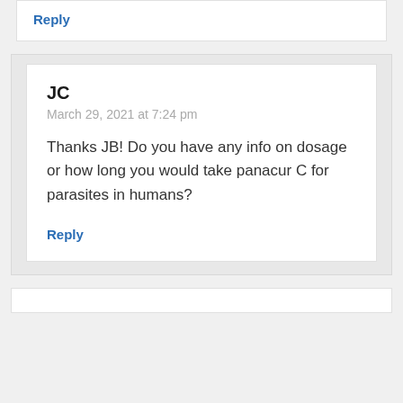Reply
JC
March 29, 2021 at 7:24 pm
Thanks JB! Do you have any info on dosage or how long you would take panacur C for parasites in humans?
Reply